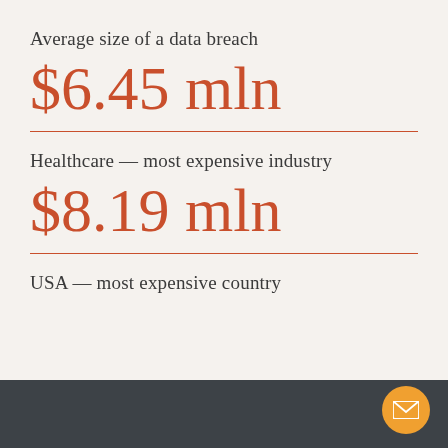Average size of a data breach
$6.45 mln
Healthcare — most expensive industry
$8.19 mln
USA — most expensive country